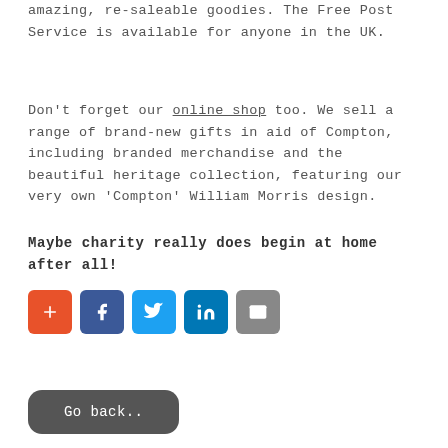amazing, re-saleable goodies. The Free Post Service is available for anyone in the UK.
Don't forget our online shop too. We sell a range of brand-new gifts in aid of Compton, including branded merchandise and the beautiful heritage collection, featuring our very own 'Compton' William Morris design.
Maybe charity really does begin at home after all!
[Figure (other): Social share buttons: orange plus/share, Facebook, Twitter, LinkedIn, Email]
Go back..